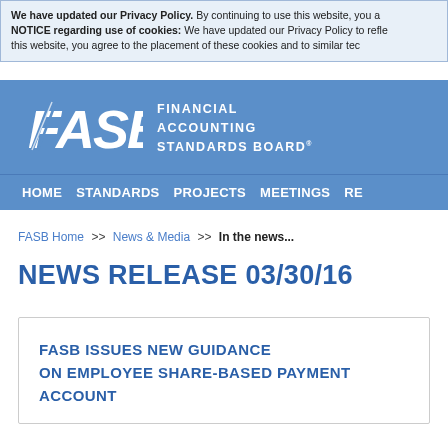We have updated our Privacy Policy. By continuing to use this website, you a NOTICE regarding use of cookies: We have updated our Privacy Policy to refle this website, you agree to the placement of these cookies and to similar tec
[Figure (logo): FASB Financial Accounting Standards Board logo in white on blue background]
HOME   STANDARDS   PROJECTS   MEETINGS   RE
FASB Home >> News & Media >> In the news...
NEWS RELEASE 03/30/16
FASB ISSUES NEW GUIDANCE ON EMPLOYEE SHARE-BASED PAYMENT ACCOUNT